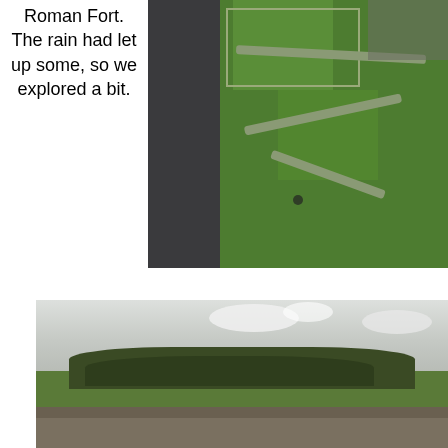Roman Fort. The rain had let up some, so we explored a bit.
[Figure (photo): Aerial view of a Roman fort site showing green fields, enclosure outlines, and pathways, with a dark strip on the left side of the image]
[Figure (photo): Ground-level landscape photograph of the Roman fort ruins, showing stone ruins in the foreground, trees in the middle ground, and an overcast sky]